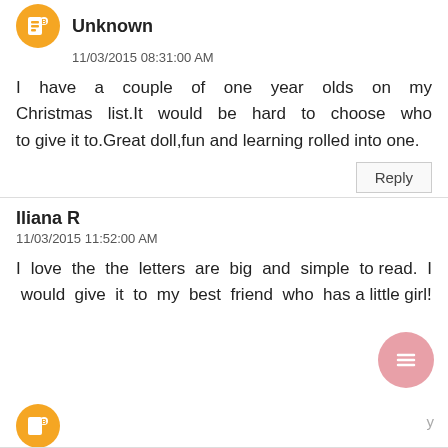[Figure (illustration): Orange circular avatar with Blogger 'B' logo icon]
Unknown
11/03/2015 08:31:00 AM
I have a couple of one year olds on my Christmas list.It would be hard to choose who to give it to.Great doll,fun and learning rolled into one.
Reply
Iliana R
11/03/2015 11:52:00 AM
I love the the letters are big and simple to read. I would give it to my best friend who has a little girl!
[Figure (illustration): Pink hamburger menu floating action button]
[Figure (illustration): Orange circular avatar at bottom left]